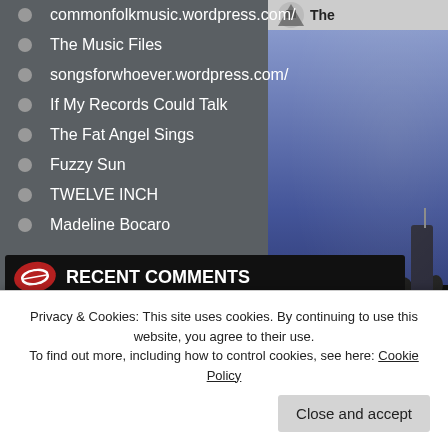commonfolkmusic.wordpress.com/
The Music Files
songsforwhoever.wordpress.com/
If My Records Could Talk
The Fat Angel Sings
Fuzzy Sun
TWELVE INCH
Madeline Bocaro
RECENT COMMENTS
maddie273 on LIVING HOUR – " No...
guteshoerenistwichti… on GENTLE SINNERS – "...
[Figure (screenshot): Right panel showing a concert photo with audience silhouettes and a 'Watch on' bar at the bottom, with a logo/icon at the top]
Privacy & Cookies: This site uses cookies. By continuing to use this website, you agree to their use.
To find out more, including how to control cookies, see here: Cookie Policy
Close and accept